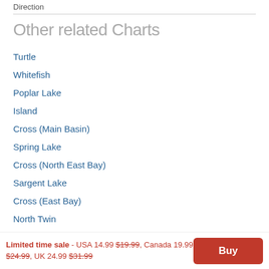Direction
Other related Charts
Turtle
Whitefish
Poplar Lake
Island
Cross (Main Basin)
Spring Lake
Cross (North East Bay)
Sargent Lake
Cross (East Bay)
North Twin
Breeze Lake
Limited time sale - USA 14.99 $19.99, Canada 19.99 $24.99, UK 24.99 $31.99